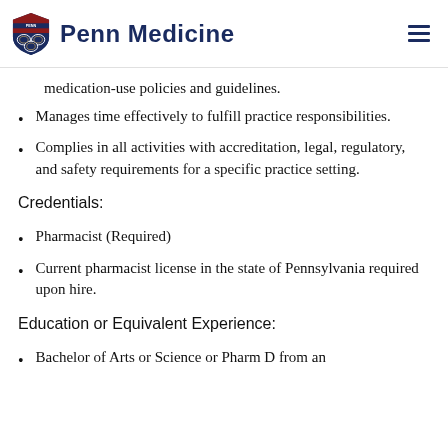Penn Medicine
medication-use policies and guidelines.
Manages time effectively to fulfill practice responsibilities.
Complies in all activities with accreditation, legal, regulatory, and safety requirements for a specific practice setting.
Credentials:
Pharmacist (Required)
Current pharmacist license in the state of Pennsylvania required upon hire.
Education or Equivalent Experience:
Bachelor of Arts or Science or Pharm D from an